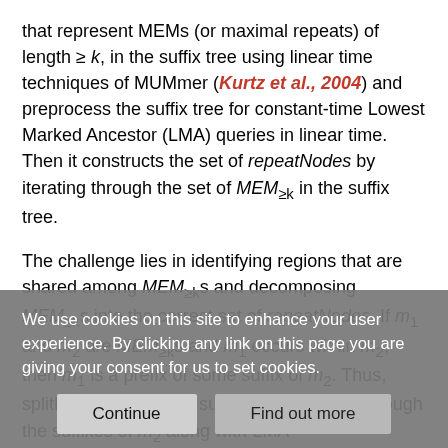that represent MEMs (or maximal repeats) of length ≥ k, in the suffix tree using linear time techniques of MUMmer (Kurtz et al., 2004) and preprocess the suffix tree for constant-time Lowest Marked Ancestor (LMA) queries in linear time. Then it constructs the set of repeatNodes by iterating through the set of MEM_≥k in the suffix tree.
The challenge lies in identifying regions that are shared among MEM_≥ks and decomposing MEM_≥ks into the correct set of repeatNodes. If m_1 and m_2 are MEM_≥ks and m_1 occurs within m_2, then m_1 is a prefix of some suffix of m_2. Thus, splitMEM can use the suffix links to iterate through the suffixes of m_2 along with LMA queries to find the longest MEM_≥k that occurs at the beginning of
We use cookies on this site to enhance your user experience. By clicking any link on this page you are giving your consent for us to set cookies.